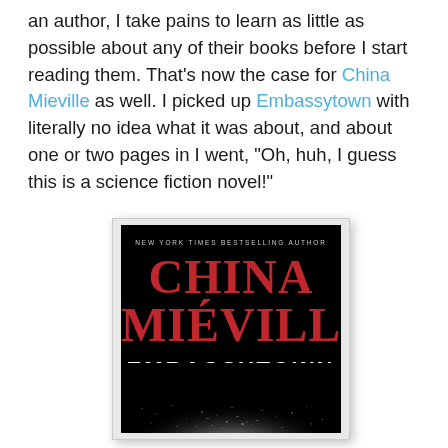an author, I take pains to learn as little as possible about any of their books before I start reading them. That's now the case for China Mieville as well. I picked up Embassytown with literally no idea what it was about, and about one or two pages in I went, "Oh, huh, I guess this is a science fiction novel!"
[Figure (photo): Book cover of 'Embassytown' by China Miéville. Black background with the author name 'CHINA MIÉVILLE' in large red serif letters and the title 'EMBASSYTOWN' in large white bold letters below. At the top it reads 'NEW YORK TIMES BESTSELLING AUTHOR' in small caps. The lower portion shows a textured black and white misty/smoky landscape.]